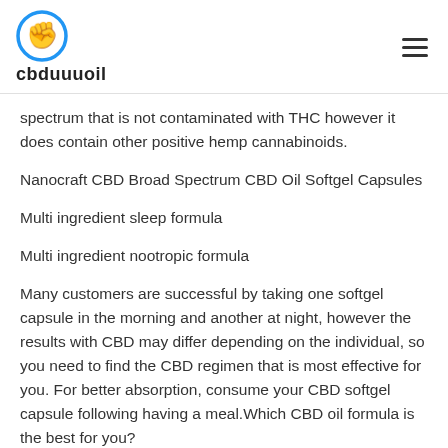cbduuuoil
spectrum that is not contaminated with THC however it does contain other positive hemp cannabinoids.
Nanocraft CBD Broad Spectrum CBD Oil Softgel Capsules
Multi ingredient sleep formula
Multi ingredient nootropic formula
Many customers are successful by taking one softgel capsule in the morning and another at night, however the results with CBD may differ depending on the individual, so you need to find the CBD regimen that is most effective for you. For better absorption, consume your CBD softgel capsule following having a meal.Which CBD oil formula is the best for you?